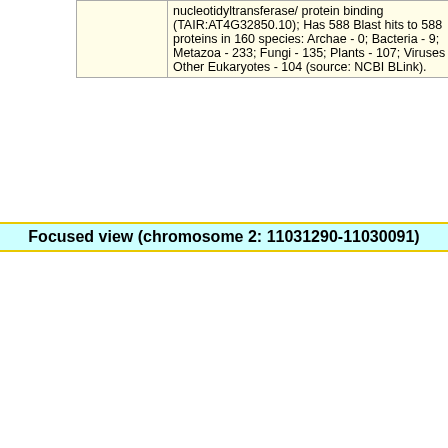|  | Description |
| --- | --- |
|  | nucleotidyltransferase/ protein binding (TAIR:AT4G32850.10); Has 588 Blast hits to 588 proteins in 160 species: Archae - 0; Bacteria - 9; Metazoa - 233; Fungi - 135; Plants - 107; Viruses - 0; Other Eukaryotes - 104 (source: NCBI BLink). |
Focused view (chromosome 2: 11031290-11030091)
| Genome position / from initiation codon |  |
| --- | --- |
| AT2G25850.1 |  |
| AT2G25850.3 |  |
| TSS from cDNA |  |
| TSS information |  |
| AT2G25850.2 | 5'->3' (-) |
| Promoter sequence |  |
| AT2G25870.1 |  |
| TSS from cDNA |  |
| TSS information | 3'->5' (+) |
| Promoter sequence |  |